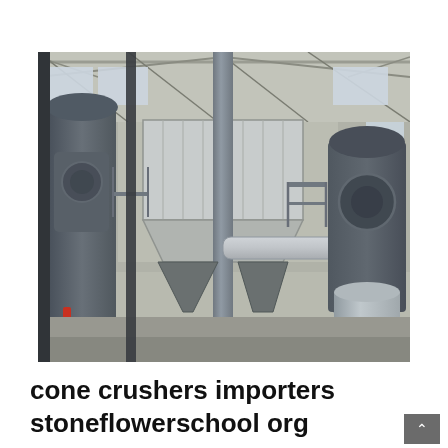[Figure (photo): Industrial interior showing heavy mining/crushing equipment including vertical mills, cone crushers, large dust collector/filter unit with white cladding, connecting ductwork pipes, hoppers, and silos inside a warehouse facility with concrete walls and metal roof structure.]
cone crushers importers stoneflowerschool org